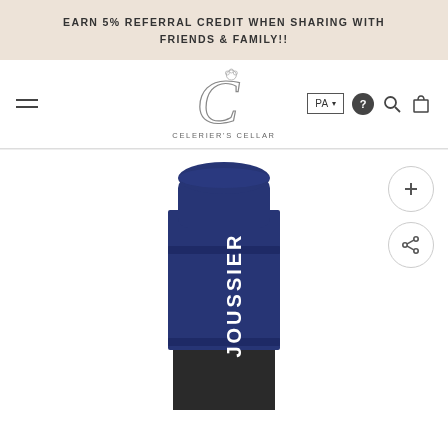EARN 5% REFERRAL CREDIT WHEN SHARING WITH FRIENDS & FAMILY!!
[Figure (logo): Celerier's Cellar logo with decorative C and floral motif, text CELERIER'S CELLAR below]
[Figure (photo): Close-up of a wine bottle top with dark navy blue foil capsule embossed with the text JOUSSIER in white letters]